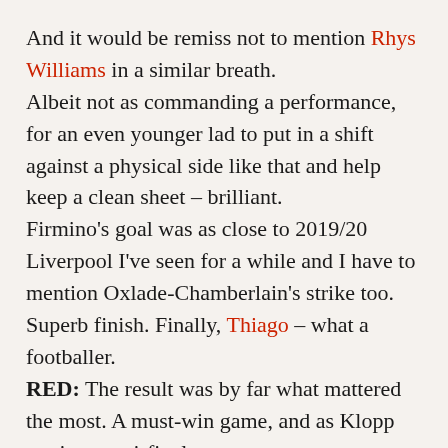And it would be remiss not to mention Rhys Williams in a similar breath.
Albeit not as commanding a performance, for an even younger lad to put in a shift against a physical side like that and help keep a clean sheet – brilliant.
Firmino's goal was as close to 2019/20 Liverpool I've seen for a while and I have to mention Oxlade-Chamberlain's strike too. Superb finish. Finally, Thiago – what a footballer.
RED: The result was by far what mattered the most. A must-win game, and as Klopp put it, a semi-final.